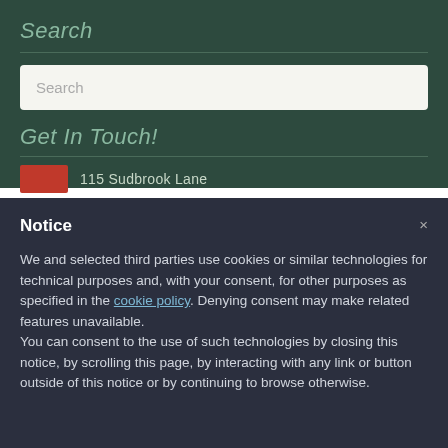Search
[Figure (screenshot): Search input box with placeholder text 'Search' on dark green background]
Get In Touch!
115 Sudbrook Lane
Notice
We and selected third parties use cookies or similar technologies for technical purposes and, with your consent, for other purposes as specified in the cookie policy. Denying consent may make related features unavailable.
You can consent to the use of such technologies by closing this notice, by scrolling this page, by interacting with any link or button outside of this notice or by continuing to browse otherwise.